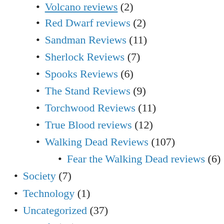Volcano reviews (2) [clipped top]
Red Dwarf reviews (2)
Sandman Reviews (11)
Sherlock Reviews (7)
Spooks Reviews (6)
The Stand Reviews (9)
Torchwood Reviews (11)
True Blood reviews (12)
Walking Dead Reviews (107)
Fear the Walking Dead reviews (6)
Society (7)
Technology (1)
Uncategorized (37)
Vanlife (36)
Third week (2)
Week 2 (7)
Watchmen reviews (9)